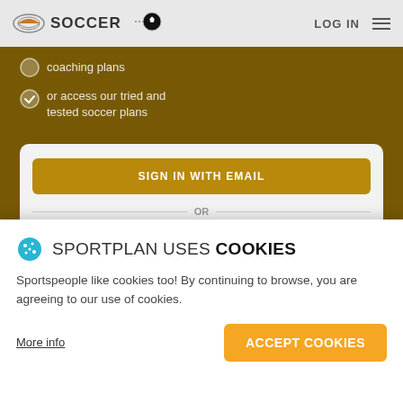SOCCER | LOG IN
coaching plans
or access our tried and tested soccer plans
[Figure (screenshot): Sign in with Email button and Sign in with Google button on golden background card]
SPORTPLAN USES COOKIES
Sportspeople like cookies too! By continuing to browse, you are agreeing to our use of cookies.
More info
ACCEPT COOKIES